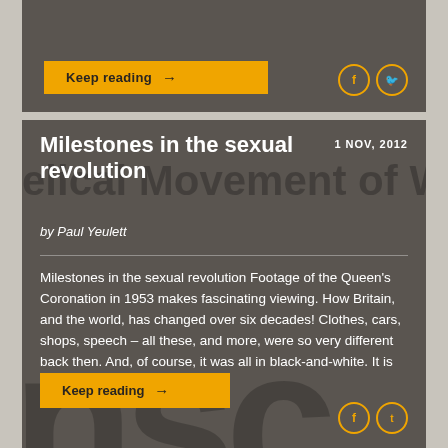[Figure (screenshot): Top card with Keep reading button and social icons on dark background]
Milestones in the sexual revolution
1 NOV, 2012
by Paul Yeulett
Milestones in the sexual revolution Footage of the Queen's Coronation in 1953 makes fascinating viewing. How Britain, and the world, has changed over six decades! Clothes, cars, shops, speech – all these, and more, were so very different back then. And, of course, it was all in black-and-white. It is difficult for people of my...
Keep reading →